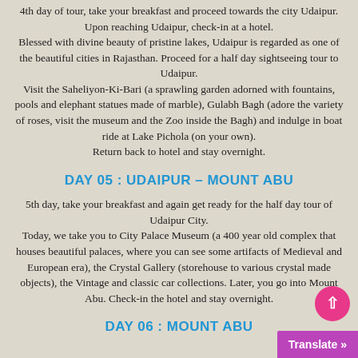4th day of tour, take your breakfast and proceed towards the city Udaipur. Upon reaching Udaipur, check-in at a hotel. Blessed with divine beauty of pristine lakes, Udaipur is regarded as one of the beautiful cities in Rajasthan. Proceed for a half day sightseeing tour to Udaipur. Visit the Saheliyon-Ki-Bari (a sprawling garden adorned with fountains, pools and elephant statues made of marble), Gulabh Bagh (adore the variety of roses, visit the museum and the Zoo inside the Bagh) and indulge in boat ride at Lake Pichola (on your own). Return back to hotel and stay overnight.
DAY 05 : UDAIPUR – MOUNT ABU
5th day, take your breakfast and again get ready for the half day tour of Udaipur City. Today, we take you to City Palace Museum (a 400 year old complex that houses beautiful palaces, where you can see some artifacts of Medieval and European era), the Crystal Gallery (storehouse to various crystal made objects), the Vintage and classic car collections. Later, you go into Mount Abu. Check-in the hotel and stay overnight.
DAY 06 : MOUNT ABU